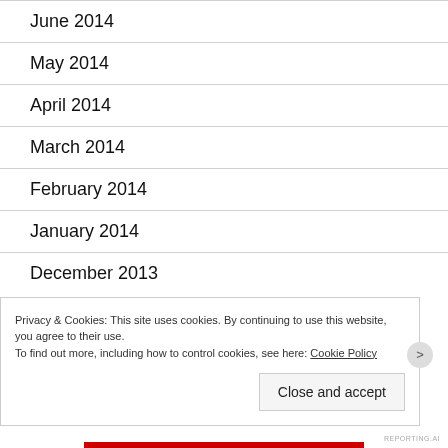June 2014
May 2014
April 2014
March 2014
February 2014
January 2014
December 2013
Privacy & Cookies: This site uses cookies. By continuing to use this website, you agree to their use.
To find out more, including how to control cookies, see here: Cookie Policy